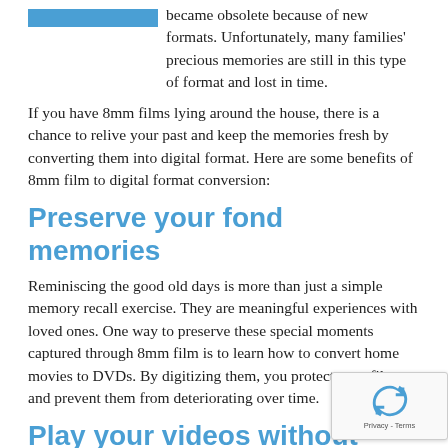became obsolete because of new formats. Unfortunately, many families' precious memories are still in this type of format and lost in time.
If you have 8mm films lying around the house, there is a chance to relive your past and keep the memories fresh by converting them into digital format. Here are some benefits of 8mm film to digital format conversion:
Preserve your fond memories
Reminiscing the good old days is more than just a simple memory recall exercise. They are meaningful experiences with loved ones. One way to preserve these special moments captured through 8mm film is to learn how to convert home movies to DVDs. By digitizing them, you protect your films and prevent them from deteriorating over time.
Play your videos without hassle
Whether you are a technology enthusiast or not, you probably have noticed that technologies are constantly evolving. For example, particular equipment models stop